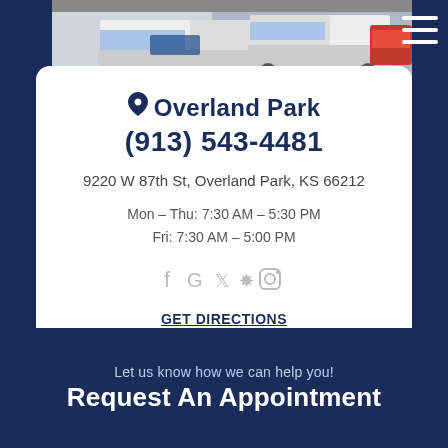[Figure (photo): Top photo strip showing trucks/vehicles parked in a lot, partially visible]
Overland Park
(913) 543-4481
9220 W 87th St, Overland Park, KS 66212
Mon – Thu: 7:30 AM – 5:30 PM
Fri: 7:30 AM – 5:00 PM
[Figure (illustration): Social media icons: Facebook, Google, Twitter, Yelp, Instagram]
GET DIRECTIONS
Let us know how we can help you!
Request An Appointment